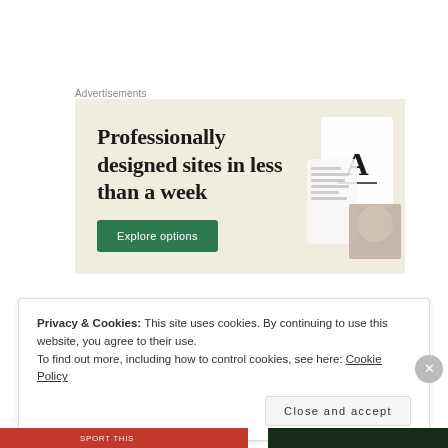Advertisements
[Figure (illustration): Advertisement banner with beige/cream background showing text 'Professionally designed sites in less than a week' with a green 'Explore options' button and decorative website mockup images on the right side.]
Privacy & Cookies: This site uses cookies. By continuing to use this website, you agree to their use.
To find out more, including how to control cookies, see here: Cookie Policy
Close and accept